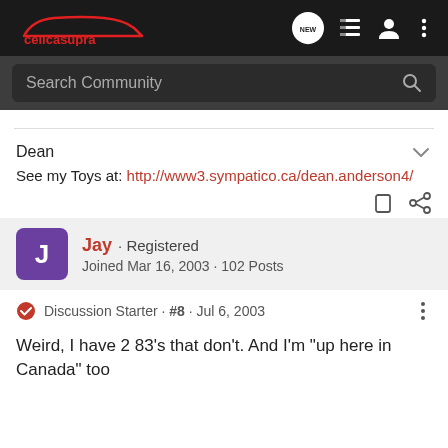celicasupra
Search Community
Dean
See my Toys at: http://www3.sympatico.ca/dean.anderson4/
Jay · Registered
Joined Mar 16, 2003 · 102 Posts
Discussion Starter · #8 · Jul 6, 2003
Weird, I have 2 83's that don't. And I'm "up here in Canada" too